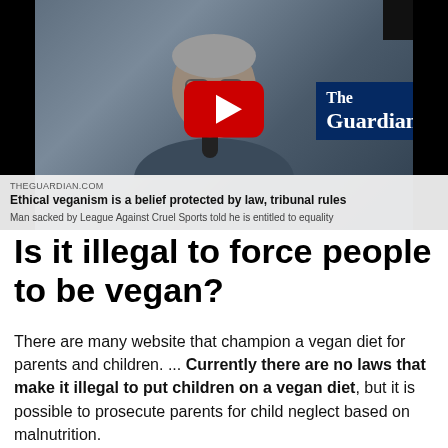[Figure (screenshot): YouTube video thumbnail from The Guardian showing a man with grey beard speaking into a microphone, with The Guardian logo in the bottom right. Overlay bar at bottom shows source 'THEGUARDIAN.COM', headline 'Ethical veganism is a belief protected by law, tribunal rules', subtext 'Man sacked by League Against Cruel Sports told he is entitled to equality'.]
Is it illegal to force people to be vegan?
There are many website that champion a vegan diet for parents and children. ... Currently there are no laws that make it illegal to put children on a vegan diet, but it is possible to prosecute parents for child neglect based on malnutrition.